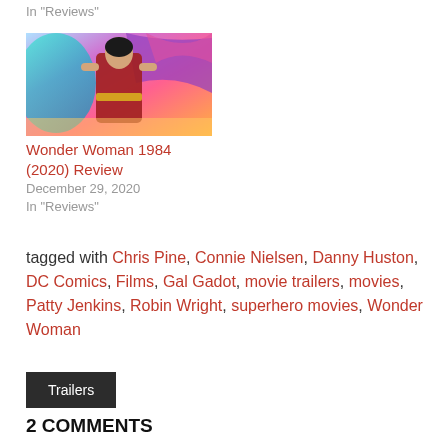In "Reviews"
[Figure (photo): Wonder Woman 1984 movie promotional image showing Gal Gadot in colorful superhero costume with vibrant purple and teal background]
Wonder Woman 1984 (2020) Review
December 29, 2020
In "Reviews"
tagged with Chris Pine, Connie Nielsen, Danny Huston, DC Comics, Films, Gal Gadot, movie trailers, movies, Patty Jenkins, Robin Wright, superhero movies, Wonder Woman
Trailers
2 COMMENTS